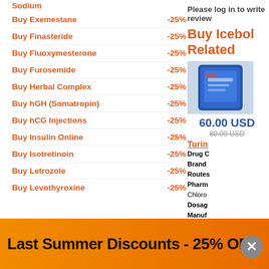Sodium
Buy Exemestane -25%
Buy Finasteride -25%
Buy Fluoxymesterone -25%
Buy Furosemide -25%
Buy Herbal Complex -25%
Buy hGH (Somatropin) -25%
Buy hCG Injections -25%
Buy Insulin Online -25%
Buy Isotretinoin -25%
Buy Letrozole -25%
Buy Levothyroxine -25%
Please log in to write review
Buy Icebol Related
[Figure (photo): Blue foil pouch product photo]
60.00 USD
80.00 USD (crossed out)
Turin
Drug C
Brand
Routes
Pharm
Chloro
Dosag
Manuf
Quanti
Purcha
Last Summer Discounts - 25% OFF